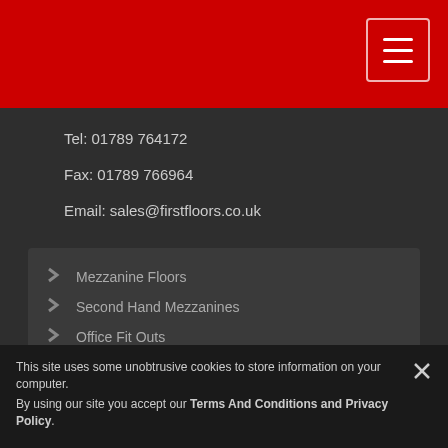[Figure (screenshot): Red header navigation bar with hamburger menu button (three white lines in a rounded rectangle border)]
Tel: 01789 764172
Fax: 01789 766964
Email: sales@firstfloors.co.uk
Mezzanine Floors
Second Hand Mezzanines
Office Fit Outs
Office Storage
Other Services
FAQs
Terms & Conditions
Cookie policy
Sitemap
Contact Us
Privacy Policy
This site uses some unobtrusive cookies to store information on your computer. By using our site you accept our Terms And Conditions and Privacy Policy.